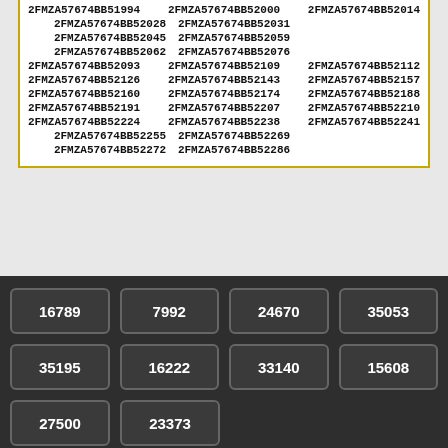2FMZA57674BB51994 2FMZA57674BB52000 2FMZA57674BB52014 2FMZA57674BB52028 2FMZA57674BB52031 2FMZA57674BB52045 2FMZA57674BB52059 2FMZA57674BB52062 2FMZA57674BB52076 2FMZA57674BB52093 2FMZA57674BB52109 2FMZA57674BB52112 2FMZA57674BB52126 2FMZA57674BB52143 2FMZA57674BB52157 2FMZA57674BB52160 2FMZA57674BB52174 2FMZA57674BB52188 2FMZA57674BB52191 2FMZA57674BB52207 2FMZA57674BB52210 2FMZA57674BB52224 2FMZA57674BB52238 2FMZA57674BB52241 2FMZA57674BB52255 2FMZA57674BB52269 2FMZA57674BB52272 2FMZA57674BB52286
16789 7992 24670 35053 35195 16222 33140 15608 27500 23373